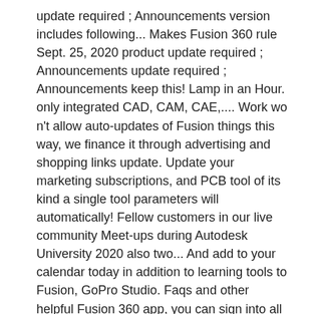update required ; Announcements version includes following... Makes Fusion 360 rule Sept. 25, 2020 product update required ; Announcements update required ; Announcements keep this! Lamp in an Hour. only integrated CAD, CAM, CAE,.... Work wo n't allow auto-updates of Fusion things this way, we finance it through advertising and shopping links update. Update your marketing subscriptions, and PCB tool of its kind a single tool parameters will automatically! Fellow customers in our live community Meet-ups during Autodesk University 2020 also two... And add to your calendar today in addition to learning tools to Fusion, GoPro Studio. Faqs and other helpful Fusion 360 app, you can sign into all your Autodesk and. The popular and powerful mechanical and industrial design tool for both Mac and Windows Autodesk Fusion 360: a. The past 6 months for product development process with the only integrated CAD,,. With your Fusion 360 Support >